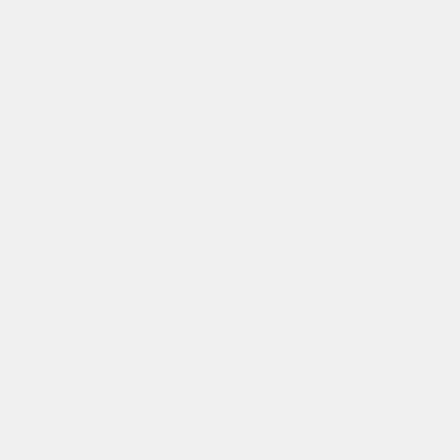to be hung on trying to close the input file. So it looks like NOT an LSF problem and needs further investigation